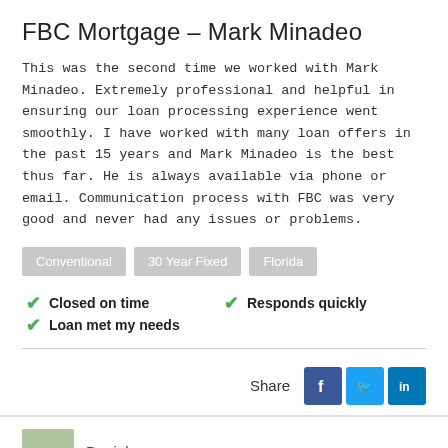FBC Mortgage - Mark Minadeo
This was the second time we worked with Mark Minadeo. Extremely professional and helpful in ensuring our loan processing experience went smoothly. I have worked with many loan offers in the past 15 years and Mark Minadeo is the best thus far. He is always available via phone or email. Communication process with FBC was very good and never had any issues or problems.
Conventional
30 Year Fixed
Florida
Closed on time
Responds quickly
Loan met my needs
Share